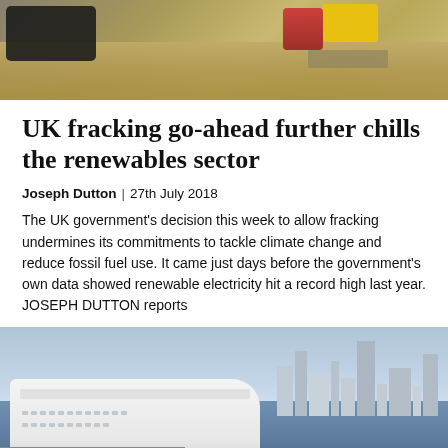[Figure (photo): Top portion of an outdoor photo showing gravel ground, a dark object on the left, yellow block in the background, and a person's feet/legs in red shoes at top right.]
UK fracking go-ahead further chills the renewables sector
Joseph Dutton | 27th July 2018
The UK government's decision this week to allow fracking undermines its commitments to tackle climate change and reduce fossil fuel use. It came just days before the government's own data showed renewable electricity hit a record high last year. JOSEPH DUTTON reports
[Figure (photo): Photo of a large white cruise ship docked at London City port, with the London city skyline visible in the background across the water. A building with 'LONDON CITY CR...' text is visible in the foreground bottom-left.]